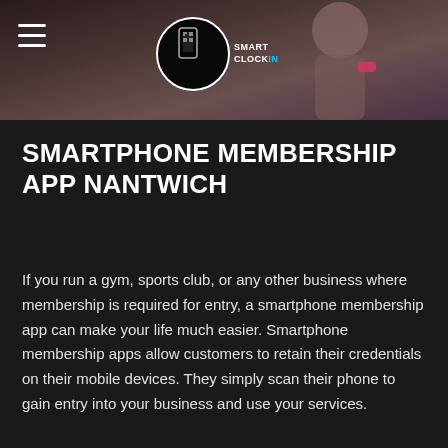[Figure (photo): Header banner photo showing gym/sports scene with dark overlay. Contains hamburger menu icon on left and Smart ClockIn logo in center.]
SMARTPHONE MEMBERSHIP APP NANTWICH
If you run a gym, sports club, or any other business where membership is required for entry, a smartphone membership app can make your life much easier. Smartphone membership apps allow customers to retain their credentials on their mobile devices. They simply scan their phone to gain entry into your business and use your services.